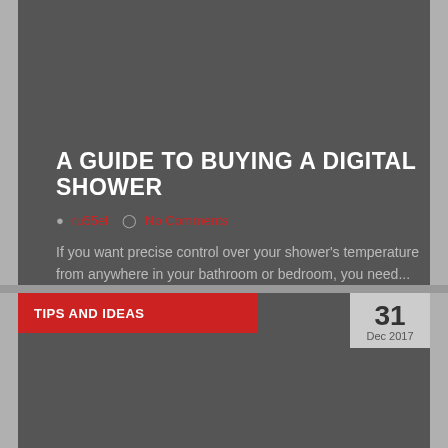A GUIDE TO BUYING A DIGITAL SHOWER
ru55el   No Comments
If you want precise control over your shower's temperature from anywhere in your bathroom or bedroom, you need...
Read More →
TIPS AND IDEAS
31 Dec 2017